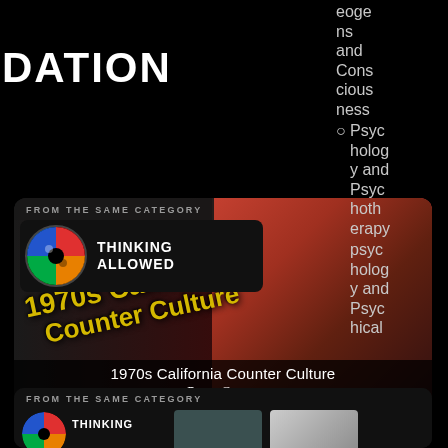DATION
eoge
ns
and
Consciousness
Psychology and Psychotherapy
psychology and
Psychical
[Figure (screenshot): FROM THE SAME CATEGORY card showing Thinking Allowed logo, 1970s California Counter Culture image with Peter Coyote text, overlaid with face of older man against red background]
FROM THE SAME CATEGORY
THINKING
ALLOWED
1970s California Counter Culture
Peter Coyote
FROM THE SAME CATEGORY
THINKING